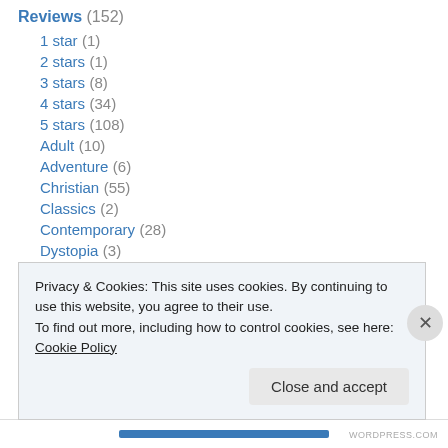Reviews (152)
1 star (1)
2 stars (1)
3 stars (8)
4 stars (34)
5 stars (108)
Adult (10)
Adventure (6)
Christian (55)
Classics (2)
Contemporary (28)
Dystopia (3)
Fantasy (107)
Privacy & Cookies: This site uses cookies. By continuing to use this website, you agree to their use.
To find out more, including how to control cookies, see here: Cookie Policy